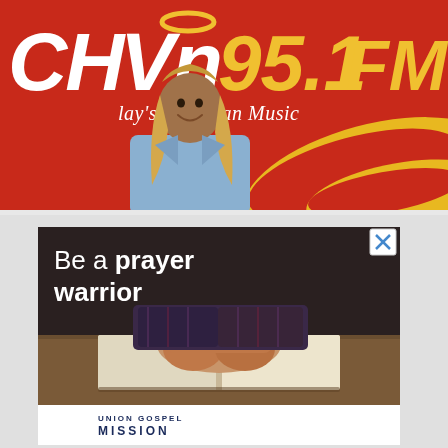[Figure (photo): A smiling woman with long blonde hair wearing a light blue denim jacket, standing in front of a red CHVN 95.1 FM radio station banner that reads 'Today's Christian Music']
[Figure (photo): Advertisement: 'Be a prayer warrior' text overlaid on a photo of clasped hands resting on an open Bible on a wooden table. Bottom shows Union Gospel Mission logo/branding.]